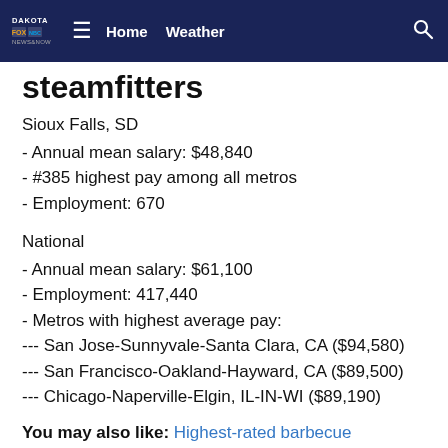Dakota Fox News & Now — Home | Weather
steamfitters
Sioux Falls, SD
- Annual mean salary: $48,840
- #385 highest pay among all metros
- Employment: 670
National
- Annual mean salary: $61,100
- Employment: 417,440
- Metros with highest average pay:
--- San Jose-Sunnyvale-Santa Clara, CA ($94,580)
--- San Francisco-Oakland-Hayward, CA ($89,500)
--- Chicago-Naperville-Elgin, IL-IN-WI ($89,190)
You may also like: Highest-rated barbecue restaurants in Sioux Falls